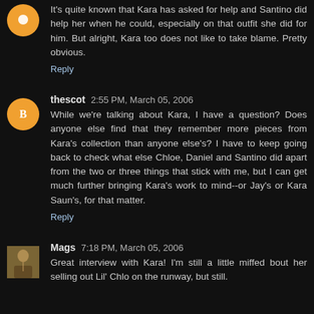It's quite known that Kara has asked for help and Santino did help her when he could, especially on that outfit she did for him. But alright, Kara too does not like to take blame. Pretty obvious.
Reply
thescot 2:55 PM, March 05, 2006
While we're talking about Kara, I have a question? Does anyone else find that they remember more pieces from Kara's collection than anyone else's? I have to keep going back to check what else Chloe, Daniel and Santino did apart from the two or three things that stick with me, but I can get much further bringing Kara's work to mind--or Jay's or Kara Saun's, for that matter.
Reply
Mags 7:18 PM, March 05, 2006
Great interview with Kara! I'm still a little miffed bout her selling out Lil' Chlo on the runway, but still.